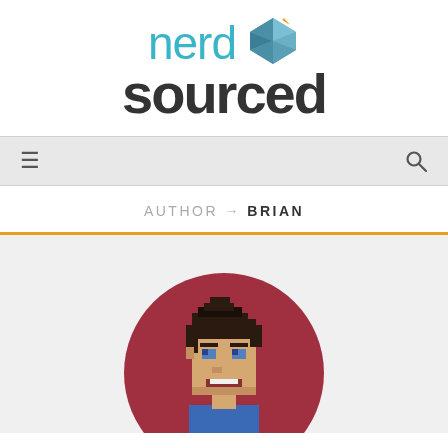[Figure (logo): Nerd Sourced logo with teal text 'nerd' and dark bold text 'sourced', with a geometric diamond/icosahedron icon in blue-grey and orange]
≡   🔍
AUTHOR → BRIAN
[Figure (illustration): Pixel art avatar of a man with dark hair on a dark red circular background, shown from shoulders up, in 8-bit retro style]